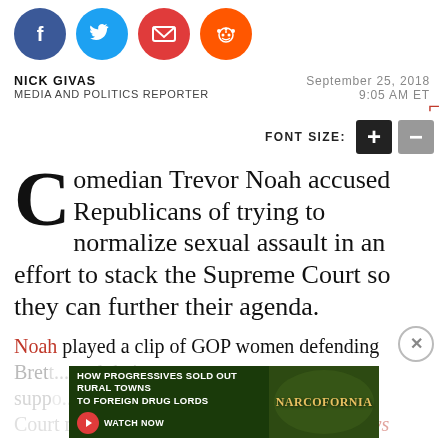[Figure (infographic): Social share icons: Facebook (blue circle), Twitter (light blue circle), Email (red circle), Reddit (orange circle)]
NICK GIVAS
MEDIA AND POLITICS REPORTER
September 25, 2018
9:05 AM ET
FONT SIZE: + –
Comedian Trevor Noah accused Republicans of trying to normalize sexual assault in an effort to stack the Supreme Court so they can further their agenda.
Noah played a clip of GOP women defending Bret... and their support... Supreme Court nominee. (RELATED: Trevor Noah Says